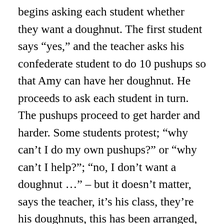begins asking each student whether they want a doughnut. The first student says “yes,” and the teacher asks his confederate student to do 10 pushups so that Amy can have her doughnut. He proceeds to ask each student in turn. The pushups proceed to get harder and harder. Some students protest; “why can’t I do my own pushups?” or “why can’t I help?”; “no, I don’t want a doughnut …” – but it doesn’t matter, says the teacher, it’s his class, they’re his doughnuts, this has been arranged, and whether the student wants the doughnut or not, he’s going to put the doughnut on each student’s desk. Eventually, all the students have been given doughnuts, and the